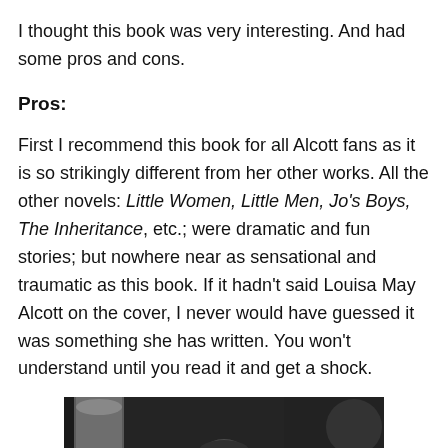I thought this book was very interesting. And had some pros and cons.
Pros:
First I recommend this book for all Alcott fans as it is so strikingly different from her other works. All the other novels: Little Women, Little Men, Jo's Boys, The Inheritance, etc.; were dramatic and fun stories; but nowhere near as sensational and traumatic as this book. If it hadn't said Louisa May Alcott on the cover, I never would have guessed it was something she has written. You won't understand until you read it and get a shock.
[Figure (photo): Black and white photograph of a person, partially visible, with a cylindrical object on the left side and dark background elements.]